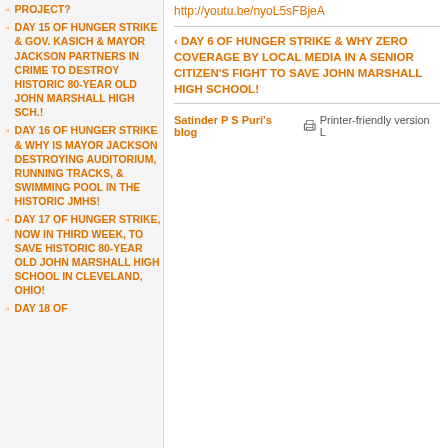PROJECT?
DAY 15 OF HUNGER STRIKE & GOV. KASICH & MAYOR JACKSON PARTNERS IN CRIME TO DESTROY HISTORIC 80-YEAR OLD JOHN MARSHALL HIGH SCH.!
DAY 16 OF HUNGER STRIKE & WHY IS MAYOR JACKSON DESTROYING AUDITORIUM, RUNNING TRACKS, & SWIMMING POOL IN THE HISTORIC JMHS!
DAY 17 OF HUNGER STRIKE, NOW IN THIRD WEEK, TO SAVE HISTORIC 80-YEAR OLD JOHN MARSHALL HIGH SCHOOL IN CLEVELAND, OHIO!
DAY 18 OF
http://youtu.be/nyoL5sFBjeA
‹ DAY 6 OF HUNGER STRIKE & WHY ZERO COVERAGE BY LOCAL MEDIA IN A SENIOR CITIZEN'S FIGHT TO SAVE JOHN MARSHALL HIGH SCHOOL!
Satinder P S Puri's blog    Printer-friendly version   L